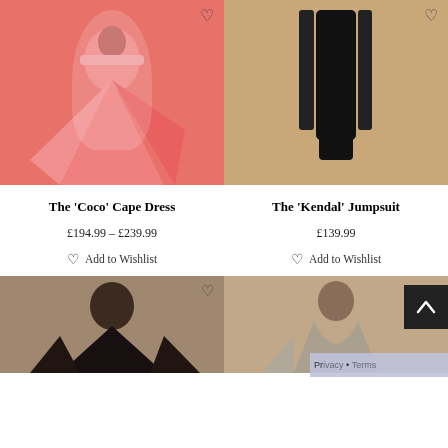[Figure (photo): Model wearing a coral/pink one-shoulder cape mermaid gown in an interior setting]
[Figure (photo): Model wearing a black one-shoulder cape jumpsuit on a tan/beige background]
The ‘Coco’ Cape Dress
£194.99 – £239.99
♡ Add to Wishlist
The ‘Kendal’ Jumpsuit
£139.99
♡ Add to Wishlist
[Figure (photo): Model in black ruffled low-cut dress on tan background]
[Figure (photo): Model in backless silver/grey gown on tan background]